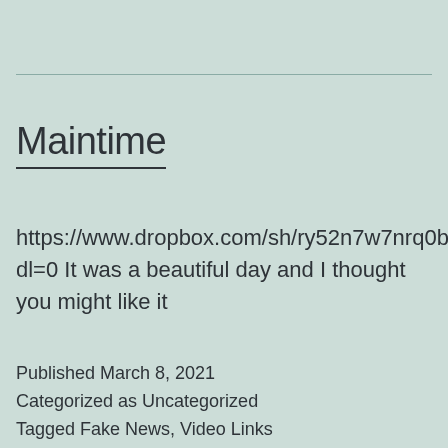Maintime
https://www.dropbox.com/sh/ry52n7w7nrq0b8l/AADAsZaDpcYeDrsWxxLa_Spra?dl=0 It was a beautiful day and I thought you might like it
Published March 8, 2021
Categorized as Uncategorized
Tagged Fake News, Video Links